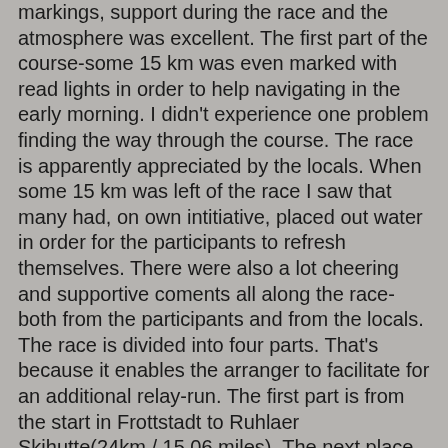markings, support during the race and the atmosphere was excellent. The first part of the course-some 15 km was even marked with read lights in order to help navigating in the early morning. I didn't experience one problem finding the way through the course. The race is apparently appreciated by the locals. When some 15 km was left of the race I saw that many had, on own intitiative, placed out water in order for the participants to refresh themselves. There were also a lot cheering and supportive coments all along the race-both from the participants and from the locals. The race is divided into four parts. That's because it enables the arranger to facilitate for an additional relay-run. The first part is from the start in Frottstadt to Ruhlaer Skihutte(24km / 15,06 miles). The next place is Floh-Seligenthal(51km / 31,63 miles) . Further on we have Finsterbergen(74 km / 46,33 miles) and finally the finish at Frottstadt(100km / 62,1 miles). The course is pretty demanding-consisting of 2.150 metres of verticals(7.053ft). The race has a total of 17 aid stations with supplies of water and food. My strategy was to run the flats and decends, and walk the uphills. It was kind of good to start running that early(4 a.m.)-allthough I was sceptical at first. It was about 4 km(2,5 miles) on small roads before we entered the deep of the woods in